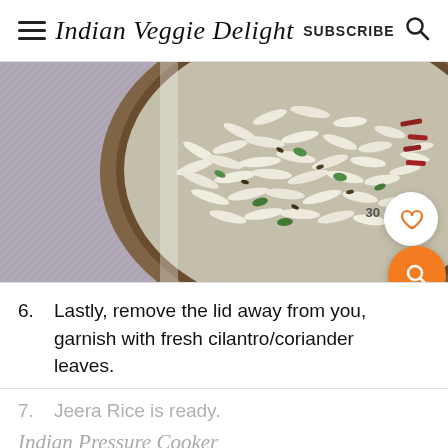Indian Veggie Delight  SUBSCRIBE
[Figure (photo): A close-up photo of a bowl of Jeera Rice (cumin rice) garnished with fresh cilantro/coriander leaves, served in a metal bowl on a blue and white textured mat. A heart/save button and save count (30) are overlaid on the image, along with an orange search button.]
6. Lastly, remove the lid away from you, garnish with fresh cilantro/coriander leaves.
7. Jeera Rice is ready.
Indian Pressure Cooker